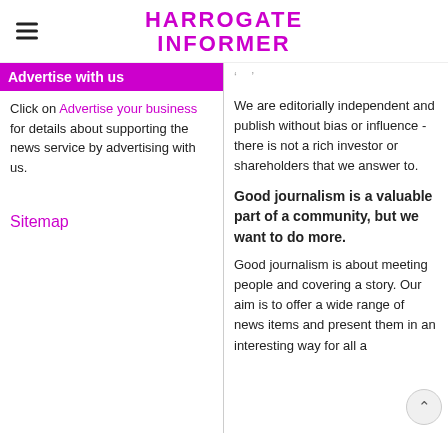HARROGATE INFORMER
Advertise with us
Click on Advertise your business for details about supporting the news service by advertising with us.
Sitemap
We are editorially independent and publish without bias or influence - there is not a rich investor or shareholders that we answer to.
Good journalism is a valuable part of a community, but we want to do more.
Good journalism is about meeting people and covering a story. Our aim is to offer a wide range of news items and present them in an interesting way for all a